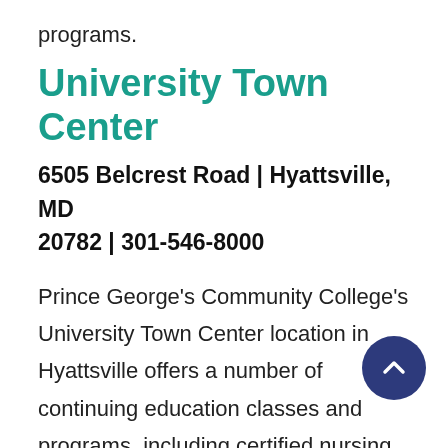programs.
University Town Center
6505 Belcrest Road | Hyattsville, MD 20782 | 301-546-8000
Prince George's Community College's University Town Center location in Hyattsville offers a number of continuing education classes and programs, including certified nursing assistant training, business and management courses, and fitness and health courses. UTC also houses the Adult Education Program's English for